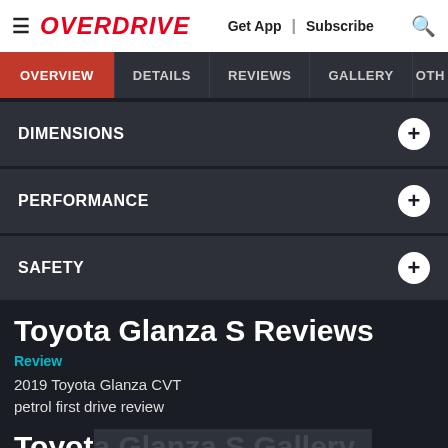OVERDRIVE | Get App | Subscribe
OVERVIEW | DETAILS | REVIEWS | GALLERY | OTH...
DIMENSIONS
PERFORMANCE
SAFETY
Toyota Glanza S Reviews
Review
2019 Toyota Glanza CVT petrol first drive review
Advertisement
Toyota Glanza S Gallery
Exterior